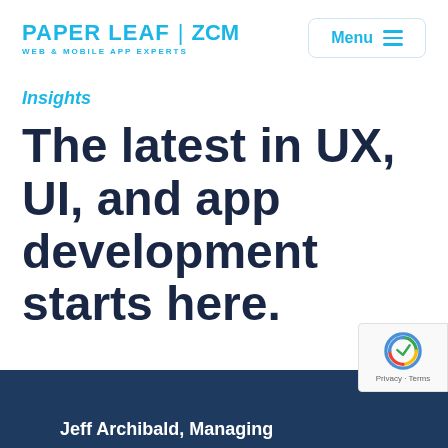PAPER LEAF | ZCM — WEB & MOBILE APP EXPERTS — Menu
Insights
The latest in UX, UI, and app development starts here.
Jeff Archibald, Managing